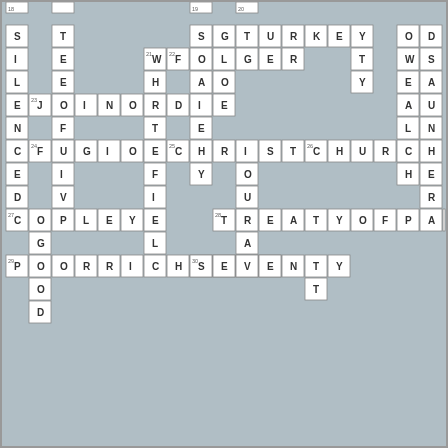[Figure (other): Crossword puzzle grid with filled letters and clue numbers. Words visible: TURKEY (20 across), FOLGER (22 across), JOINORDIE (23 across), FUGIO (24 across), CHRISTCHURCH (25/26 across), COPLEY (27 across), TREATYOFPARIS (28 across), POORRICHARDS (29 across), SEVENTY (30 across), and various down letters.]